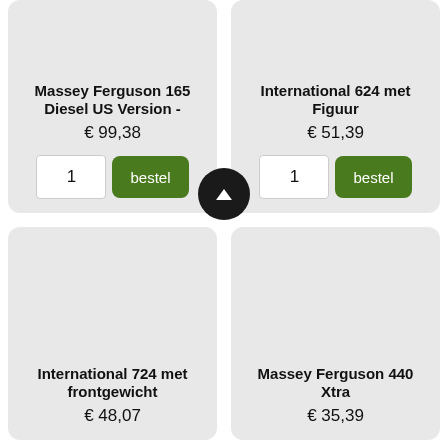Massey Ferguson 165 Diesel US Version -
€ 99,38
1
bestel
International 624 met Figuur
€ 51,39
1
bestel
International 724 met frontgewicht
€ 48,07
Massey Ferguson 440 Xtra
€ 35,39